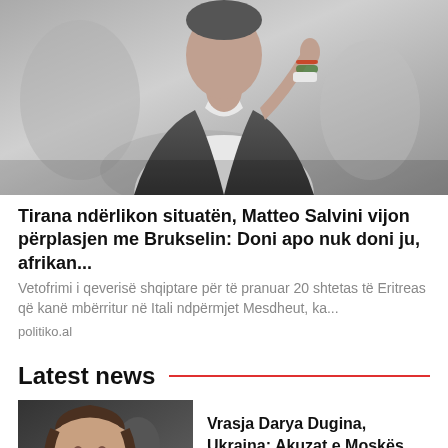[Figure (photo): Grayscale photo of a man in a suit with hand raised, crowd in background]
Tirana ndërlikon situatën, Matteo Salvini vijon përplasjen me Brukselin: Doni apo nuk doni ju, afrikan...
Vetofrimi i qeverisë shqiptare për të pranuar 20 shtetas të Eritreas që kanë mbërritur në Itali ndpërmjet Mesdheut, ka...
politiko.al
Latest news
[Figure (photo): Photo of a young woman with short hair (foreground) and a man in background]
Vrasja Darya Dugina, Ukraina: Akuzat e Moskës janë trillim
2022-08-23 22:56:49